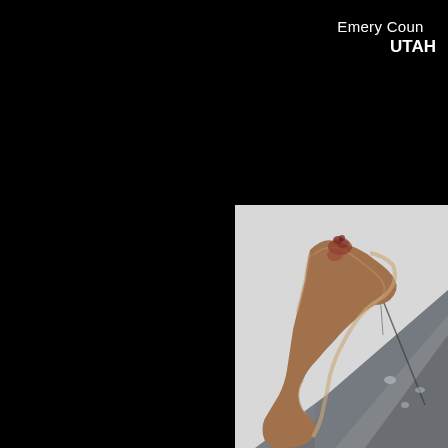Emery County UTAH
[Figure (photo): Close-up photograph of a fossil bone fragment or rock specimen showing reddish-brown bone material on top and grey stone matrix below, photographed against a light grey/white background.]